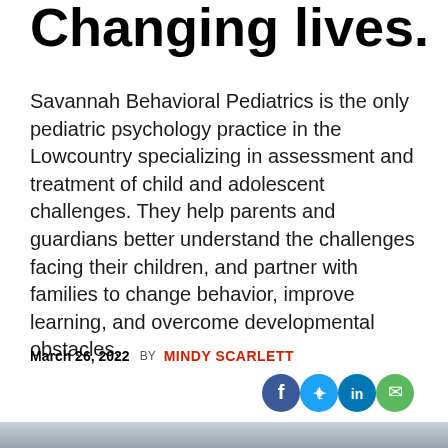Changing lives.
Savannah Behavioral Pediatrics is the only pediatric psychology practice in the Lowcountry specializing in assessment and treatment of child and adolescent challenges. They help parents and guardians better understand the challenges facing their children, and partner with families to change behavior, improve learning, and overcome developmental obstacles.
March 26, 2022  BY  MINDY SCARLETT
[Figure (photo): Photo of a person, partially visible at bottom of page, sitting in front of what appears to be white shuttered doors or windows]